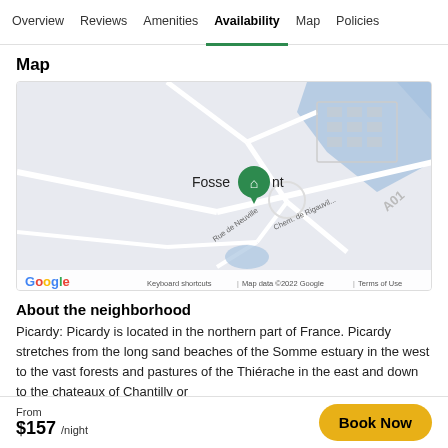Overview | Reviews | Amenities | Availability | Map | Policies
Map
[Figure (map): Google Map showing the location of Fossemont, France, with a green home marker, roads, water features, and labels including Rue de Neuville and Chem. de Rigauville. Map data ©2022 Google.]
About the neighborhood
Picardy: Picardy is located in the northern part of France. Picardy stretches from the long sand beaches of the Somme estuary in the west to the vast forests and pastures of the Thiérache in the east and down to the chateaux of Chantilly or
From $157 /night  Book Now